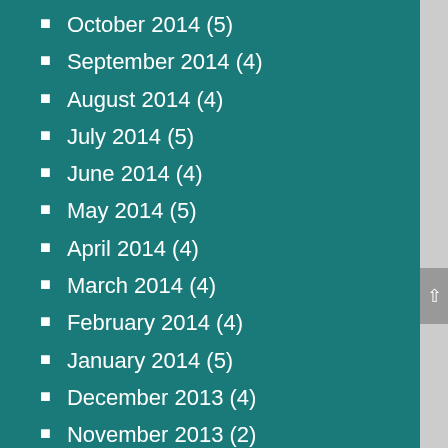October 2014 (5)
September 2014 (4)
August 2014 (4)
July 2014 (5)
June 2014 (4)
May 2014 (5)
April 2014 (4)
March 2014 (4)
February 2014 (4)
January 2014 (5)
December 2013 (4)
November 2013 (2)
RECENT POSTS
Is ‘nesting’ a good option for you and